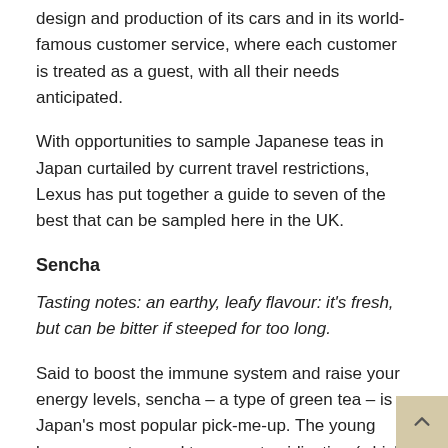design and production of its cars and in its world-famous customer service, where each customer is treated as a guest, with all their needs anticipated.
With opportunities to sample Japanese teas in Japan curtailed by current travel restrictions, Lexus has put together a guide to seven of the best that can be sampled here in the UK.
Sencha
Tasting notes: an earthy, leafy flavour: it's fresh, but can be bitter if steeped for too long.
Said to boost the immune system and raise your energy levels, sencha – a type of green tea – is Japan's most popular pick-me-up. The young leaves are steamed to prevent oxidisation (which would turn them into black tea), before being rolled and dried, and are often blended with other flavours, such as cherry blossom or jasmine. When